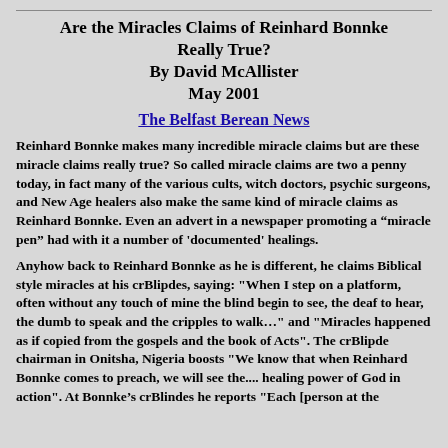Are the Miracles Claims of Reinhard Bonnke Really True?
By David McAllister
May 2001
The Belfast Berean News
Reinhard Bonnke makes many incredible miracle claims but are these miracle claims really true? So called miracle claims are two a penny today, in fact many of the various cults, witch doctors, psychic surgeons, and New Age healers also make the same kind of miracle claims as Reinhard Bonnke. Even an advert in a newspaper promoting a “miracle pen” had with it a number of 'documented' healings.
Anyhow back to Reinhard Bonnke as he is different, he claims Biblical style miracles at his crBlipdes, saying: "When I step on a platform, often without any touch of mine the blind begin to see, the deaf to hear, the dumb to speak and the cripples to walk…" and "Miracles happened as if copied from the gospels and the book of Acts". The crBlipde chairman in Onitsha, Nigeria boosts "We know that when Reinhard Bonnke comes to preach, we will see the.... healing power of God in action". At Bonnke's crBlindes he reports "Each [person at the